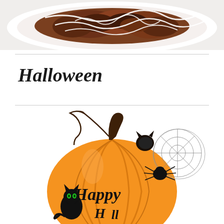[Figure (photo): Top-down photo of a chocolate drizzled bundt cake or pastry on a white plate with white icing drizzle]
Halloween
[Figure (illustration): Halloween illustration featuring an orange pumpkin with 'Happy Halloween' text carved/printed on it, a black cat with green eyes on the left, a black spider on the pumpkin, and a spider web on the right side. The pumpkin has a dark stem and curling vine.]